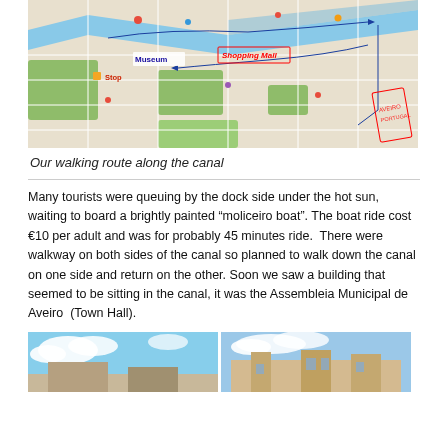[Figure (map): A Google Maps screenshot showing a walking route along a canal in Aveiro, Portugal. Blue dashed arrows indicate the route direction. Annotations include 'Museum', 'Shopping Mall' (in a red box), 'Stop' (with a yellow marker), and a red stamped marker on the right side. The canal (blue waterway) runs diagonally.]
Our walking route along the canal
Many tourists were queuing by the dock side under the hot sun, waiting to board a brightly painted “moliceiro boat”. The boat ride cost €10 per adult and was for probably 45 minutes ride.  There were walkway on both sides of the canal so planned to walk down the canal on one side and return on the other. Soon we saw a building that seemed to be sitting in the canal, it was the Assembleia Municipal de Aveiro  (Town Hall).
[Figure (photo): Two side-by-side photos showing buildings under a blue sky, likely in Aveiro, Portugal. Left photo shows a building facade with blue sky. Right photo shows the Assembleia Municipal de Aveiro (Town Hall) building.]